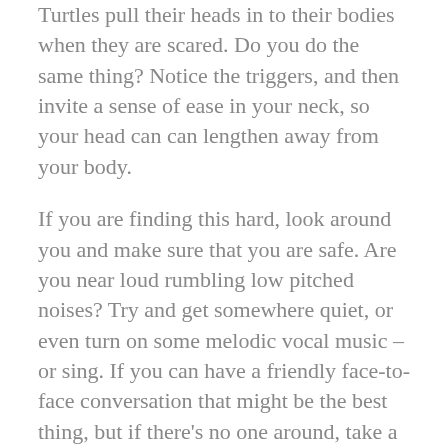Turtles pull their heads in to their bodies when they are scared. Do you do the same thing? Notice the triggers, and then invite a sense of ease in your neck, so your head can can lengthen away from your body.
If you are finding this hard, look around you and make sure that you are safe. Are you near loud rumbling low pitched noises? Try and get somewhere quiet, or even turn on some melodic vocal music – or sing. If you can have a friendly face-to-face conversation that might be the best thing, but if there's no one around, take a minute to look at pictures of baby animals. All of this will help cue your nervous system towards a sense of safety. Feeling safe facilitates a release